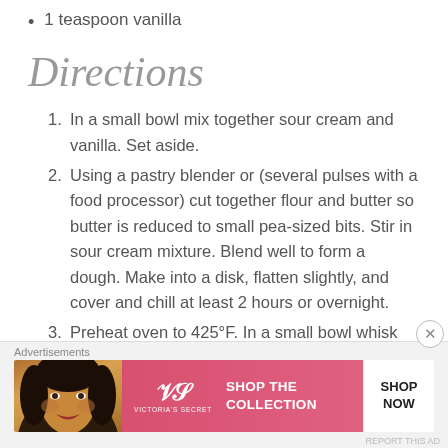1 teaspoon vanilla
Directions
1. In a small bowl mix together sour cream and vanilla. Set aside.
2. Using a pastry blender or (several pulses with a food processor) cut together flour and butter so butter is reduced to small pea-sized bits. Stir in sour cream mixture. Blend well to form a dough. Make into a disk, flatten slightly, and cover and chill at least 2 hours or overnight.
3. Preheat oven to 425°F. In a small bowl whisk together
[Figure (other): Advertisement banner for Victoria's Secret showing a woman and pink background with text SHOP THE COLLECTION and SHOP NOW button]
Advertisements